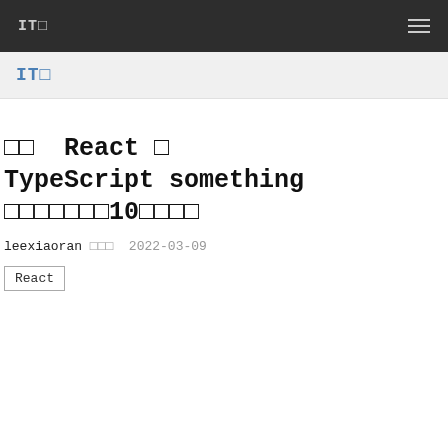ITO  ☰
ITO
□□ React □ TypeScript something □□□□□□□ 10□□□□
leexiaoran □□□  2022-03-09
React